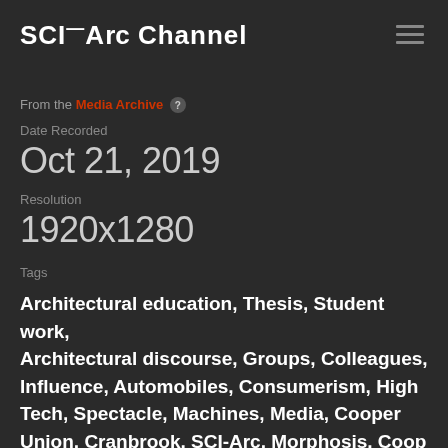SCI-Arc Channel
From the Media Archive ?
Date Recorded
Oct 21, 2019
Resolution
1920x1280
Tags
Architectural education, Thesis, Student work, Architectural discourse, Groups, Colleagues, Influence, Automobiles, Consumerism, High Tech, Spectacle, Machines, Media, Cooper Union, Cranbrook, SCI-Arc, Morphosis, Coop